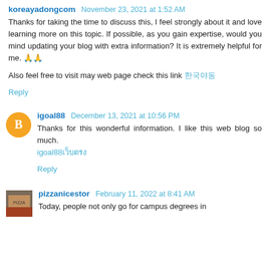koreayadongcom November 23, 2021 at 1:52 AM
Thanks for taking the time to discuss this, I feel strongly about it and love learning more on this topic. If possible, as you gain expertise, would you mind updating your blog with extra information? It is extremely helpful for me. 🙏🙏
Also feel free to visit may web page check this link 한국야동
Reply
igoal88 December 13, 2021 at 10:56 PM
Thanks for this wonderful information. I like this web blog so much.
igoal88เว็บตรง
Reply
pizzanicestor February 11, 2022 at 8:41 AM
Today, people not only go for campus degrees in...